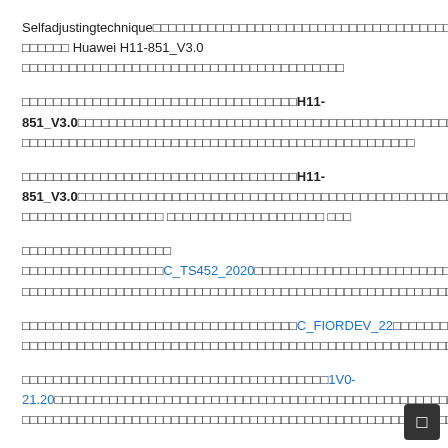Selfadjustingtechnique□□□□□□□□□□□□□□□□□□□□□□□□□□□□□□□□□□□□□□□□□□□□□□□□□□□□□□□□□□□□□□□□□□□□ Huawei H11-851_V3.0 □□□□□□□□□□□□□□□□□□□□□□□□□□□□□□□□□□□□□□
□□□□□□□□□□□□□□□□□□□□□□□□□□□□□□□□□□□H11-851_V3.0□□□□□□□□□□□□□□□□□□□□□□□□□□□□□□□□□□□□□□□□□□□□□□□□□□□□□□□□□□□□□□□□□
□□□□□□□□□□□□□□□□□□□□□□□□□□□□□□□□□□□H11-851_V3.0□□□□□□□□□□□□□□□□□□□□□□□□□□□□□□□□□□□□□□□□□□□□□□□□□□□□□□□□□□□□□□□□□□ □□□
□□□□□□□□□□□□□□□□□□□□□□□□□□□□□□□□□□□C_TS452_2020□□□□□□□□□□□□□□□□□□□□□□□□□□□□□□□□□□□□□□□□□□□□□□□□□□□□□□□□□□□□□□□□□□□□□□□□□□
□□□□□□□□□□□□□□□□□□□□□□□□□□□□□□□□□□□C_FIORDEV_22□□□□□□□□□□□□□□□□□□□□□□□□□□□□□□□□□□□□□□□□□□□□□□□□□□□□□□□□□□□□□□□□□□
□□□□□□□□□□□□□□□□□□□□□□□□□□□□□□□□□□□□□1V0-21.20□□□□□□□□□□□□□□□□□□□□□□□□□□□□□□□□□□□□□□□□□□□□□□□□□□□□□□□□□□□□□□□□□
□□□□□□□□□□□□□□□□□□□□□□□□□□□□□□□□□□
https://latestdumps.testpdf.net/H11-851_V3.0-new-exam-dumps.html□□□□□□□□□□□□□□□□□□□□□□□□□□□□□□□□□□□□□□□□□□□□□□□□□□□□□□□□□□□□□□□□□□□□□□□□□□□□□□
□□□□□□□□□□□□□□□□□□□□□□□□□□□□□□□□□□□□1z0-1058-22□□□□□□□□□□□□□□□□□□□□□□□□□□□□□□□□□□□□□□□□□□□□□□□□□□□□□□□□□□□□□□□□□□□□□□□□□□